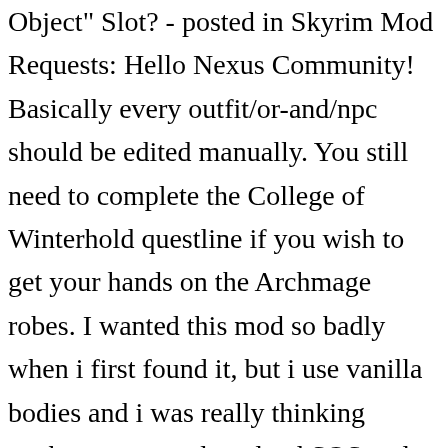Object" Slot? - posted in Skyrim Mod Requests: Hello Nexus Community! Basically every outfit/or-and/npc should be edited manually. You still need to complete the College of Winterhold questline if you wish to get your hands on the Archmage robes. I wanted this mod so badly when i first found it, but i use vanilla bodies and i was really thinking wether or not to download SOS and CBBE just to use this mod. Nif files were optimized for SSE. I recommend to use it with clean game.Thank you :). So... to let it clear, if we have CBBE or [type you fav Body here] this mod